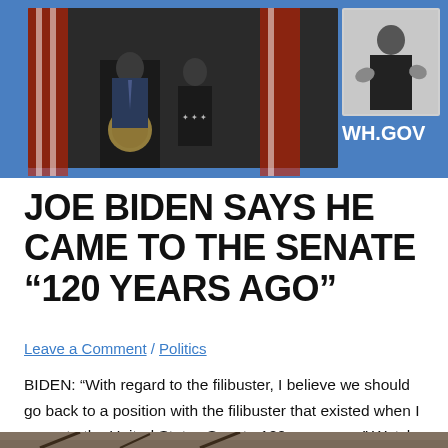[Figure (photo): Photo of Joe Biden speaking at a podium with the Presidential seal, American flags in the background and a woman beside him, plus a sign language interpreter inset. White House logo 'WH.GOV' visible on blue background.]
JOE BIDEN SAYS HE CAME TO THE SENATE “120 YEARS AGO”
Leave a Comment / Politics
BIDEN: “With regard to the filibuster, I believe we should go back to a position with the filibuster that existed when I came to the United States Senate 120 years ago.” Watch:
[Figure (photo): Partial bottom photo showing outdoor scene, partially visible.]